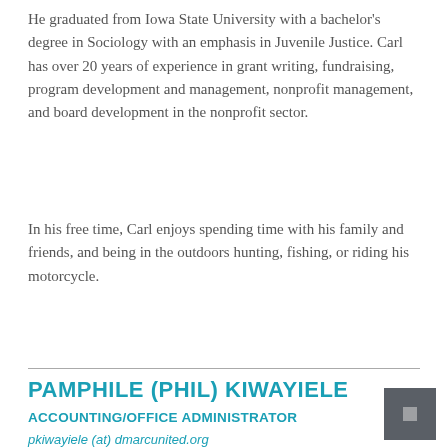He graduated from Iowa State University with a bachelor's degree in Sociology with an emphasis in Juvenile Justice. Carl has over 20 years of experience in grant writing, fundraising, program development and management, nonprofit management, and board development in the nonprofit sector.
In his free time, Carl enjoys spending time with his family and friends, and being in the outdoors hunting, fishing, or riding his motorcycle.
PAMPHILE (PHIL) KIWAYIELE
ACCOUNTING/OFFICE ADMINISTRATOR
pkiwayiele (at) dmarcunited.org